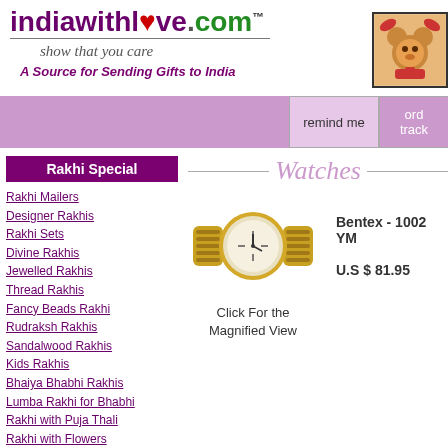indiawithlove.com™
show that you care
A Source for Sending Gifts to India
[Figure (photo): Teddy bear with hat, promotional image]
remind me
ord track
Rakhi Special
Rakhi Mailers
Designer Rakhis
Rakhi Sets
Divine Rakhis
Jewelled Rakhis
Thread Rakhis
Fancy Beads Rakhi
Rudraksh Rakhis
Sandalwood Rakhis
Kids Rakhis
Bhaiya Bhabhi Rakhis
Lumba Rakhi for Bhabhi
Rakhi with Puja Thali
Rakhi with Flowers
Rakhi with Chocolates
Rakhi with Dry Fruits
Rakhi with Sweets
Rakhi with Mugs
Sweets
Chocolates
Cakes
Love Combos
Mugs & Quotations
Dry Fruits
Watches
[Figure (photo): Gold ladies wrist watch - Bentex 1002 YM]
Click For the Magnified View
Bentex - 1002 YM
U.S $ 81.95